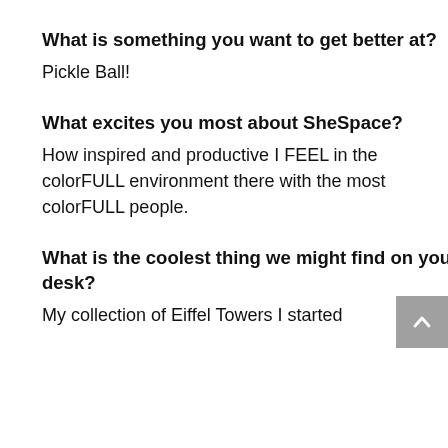What is something you want to get better at?
Pickle Ball!
What excites you most about SheSpace?
How inspired and productive I FEEL in the colorFULL environment there with the most colorFULL people.
What is the coolest thing we might find on your desk?
My collection of Eiffel Towers I started